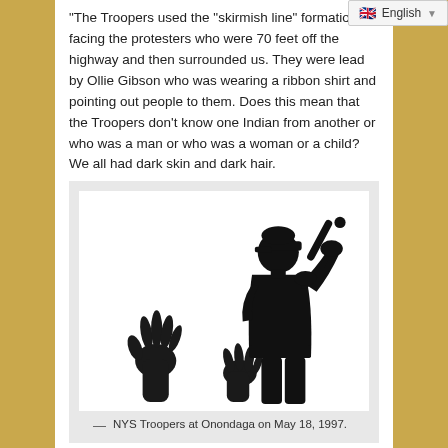“The Troopers used the “skirmish line” formation by facing the protesters who were 70 feet off the highway and then surrounded us. They were lead by Ollie Gibson who was wearing a ribbon shirt and pointing out people to them. Does this mean that the Troopers don’t know one Indian from another or who was a man or who was a woman or a child? We all had dark skin and dark hair.
[Figure (illustration): Black silhouette illustration of a police officer raising a baton overhead while two hands reach up from below in a defensive or pleading gesture.]
NYS Troopers at Onondaga on May 18, 1997.